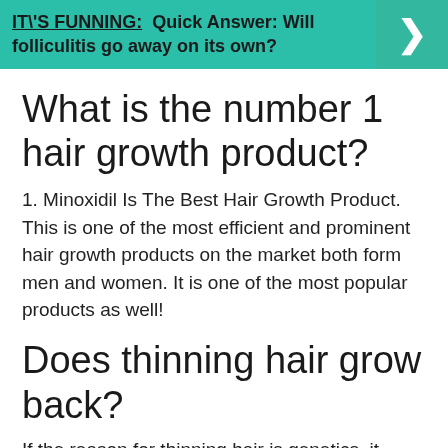[Figure (other): Teal banner with text 'IT\'S FUNNING: Quick Answer: Will folliculitis go away on its own?' and a right-pointing chevron arrow on the right side]
What is the number 1 hair growth product?
1. Minoxidil Is The Best Hair Growth Product. This is one of the most efficient and prominent hair growth products on the market both form men and women. It is one of the most popular products as well!
Does thinning hair grow back?
If the reason for thinning hair is genetics, it